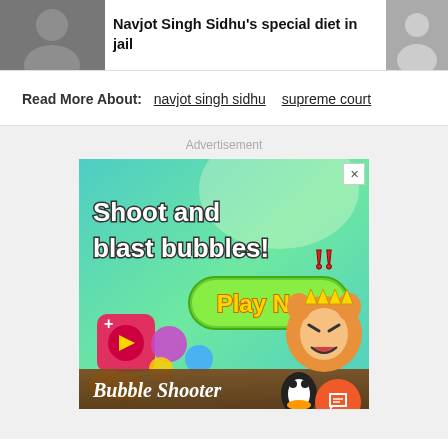[Figure (photo): News article thumbnail showing Navjot Singh Sidhu with article title 'Navjot Singh Sidhu's special diet in jail']
Read More About:  navjot singh sidhu  supreme court
Advertisement
[Figure (photo): Mobile game advertisement for Bubble Shooter game showing 'Shoot and blast bubbles! Play Now' text with colorful game graphics including bubbles, a cat character, and a penguin]